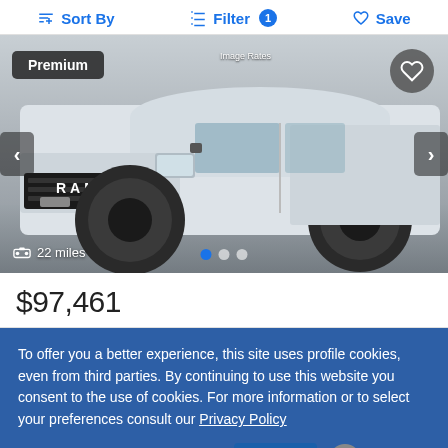Sort By   Filter 1   Save
[Figure (photo): White RAM 2500 pickup truck with black wheels and lift kit, shown from front-left angle. Premium badge overlay in top-left corner, heart/favorite button in top-right. Shows 22 miles. Carousel with 3 dots (first active/blue).]
$97,461
To offer you a better experience, this site uses profile cookies, even from third parties. By continuing to use this website you consent to the use of cookies. For more information or to select your preferences consult our Privacy Policy
Cookie Settings   ✓ OK